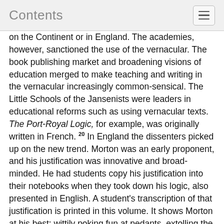Contents
on the Continent or in England. The academies, however, sanctioned the use of the vernacular. The book publishing market and broadening visions of education merged to make teaching and writing in the vernacular increasingly common-sensical. The Little Schools of the Jansenists were leaders in educational reforms such as using vernacular texts. The Port-Royal Logic, for example, was originally written in French. 20 In England the dissenters picked up on the new trend. Morton was an early proponent, and his justification was innovative and broad-minded. He had students copy his justification into their notebooks when they took down his logic, also presented in English. A student's transcription of that justification is printed in this volume. It shows Morton at his best: wittily poking fun at pedants, extolling the nobility of the English language, hopeful of
(p68)